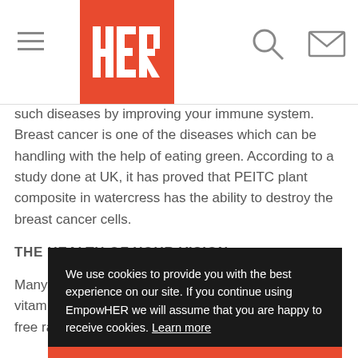HER (logo) navigation bar with hamburger menu, search icon, and mail icon
such diseases by improving your immune system. Breast cancer is one of the diseases which can be handling with the help of eating green. According to a study done at UK, it has proved that PEITC plant composite in watercress has the ability to destroy the breast cancer cells.
THE HEALTH OF YOUR VISION :
Many people use to eat carrots in order to maintain the health of their vision because vitamin A which is used to be a very important component in maintaining the vision, can be obtained originally from carrots. They are especially used as weapons against free radical light injury, serving the eyes to
We use cookies to provide you with the best experience on our site. If you continue using EmpowHER we will assume that you are happy to receive cookies. Learn more
Got it!